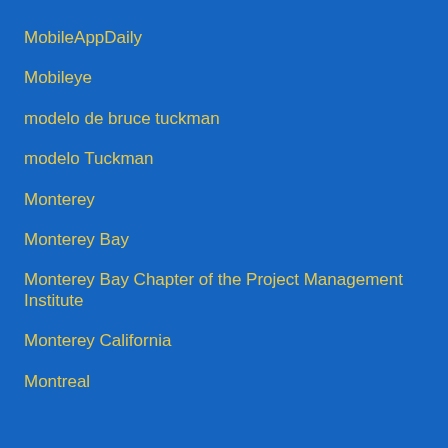MobileAppDaily
Mobileye
modelo de bruce tuckman
modelo Tuckman
Monterey
Monterey Bay
Monterey Bay Chapter of the Project Management Institute
Monterey California
Montreal